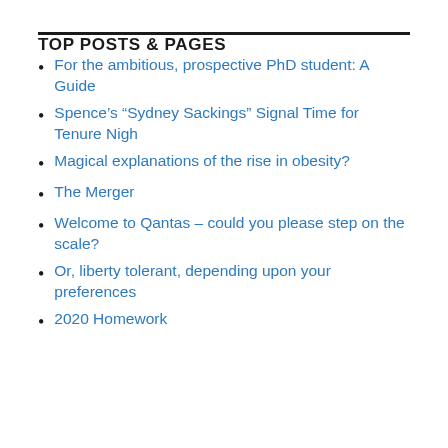TOP POSTS & PAGES
For the ambitious, prospective PhD student: A Guide
Spence’s “Sydney Sackings” Signal Time for Tenure Nigh
Magical explanations of the rise in obesity?
The Merger
Welcome to Qantas – could you please step on the scale?
Or, liberty tolerant, depending upon your preferences
2020 Homework